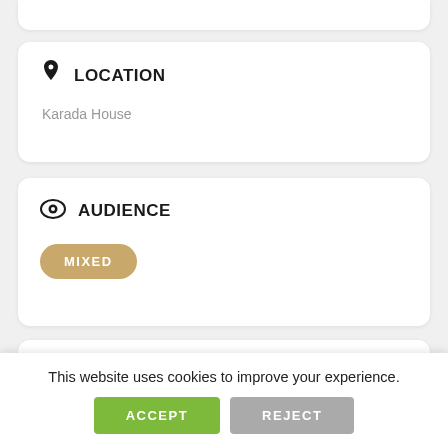LOCATION
Karada House
AUDIENCE
MIXED
EVENT DETAILS
Welcome to Rebecca’s opening movement workshop at Karada House.
This website uses cookies to improve your experience.